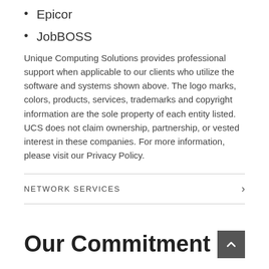Epicor
JobBOSS
Unique Computing Solutions provides professional support when applicable to our clients who utilize the software and systems shown above. The logo marks, colors, products, services, trademarks and copyright information are the sole property of each entity listed. UCS does not claim ownership, partnership, or vested interest in these companies. For more information, please visit our Privacy Policy.
NETWORK SERVICES
Our Commitment